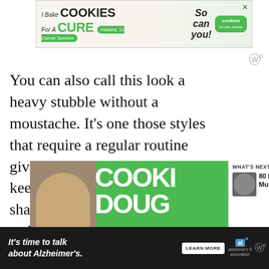[Figure (screenshot): Advertisement banner: 'I Bake COOKIES For A CURE' with Cookies for Kids Cancer logo and photo of child]
You can also call this look a heavy stubble without a moustache. It’s one those styles that require a regular routine given that all you need to do is keep the mustache are clean shaved. You also need to keep the stubble trimmed to 4 mm to 5 mm and a nicely shaved cheek line as well.
[Figure (screenshot): Green advertisement banner with 'COOKIE DOUGH' text and child photo; 'WHAT'S NEXT' panel showing '80 Hottest Mustache...' thumbnail]
[Figure (screenshot): Bottom advertisement banner: 'It's time to talk about Alzheimer's.' with LEARN MORE button and Alzheimer's Association logo]